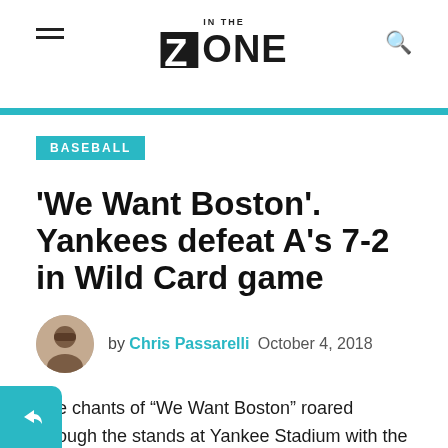IN THE ZONE
BASEBALL
'We Want Boston'. Yankees defeat A's 7-2 in Wild Card game
by Chris Passarelli  October 4, 2018
The chants of “We Want Boston” roared through the stands at Yankee Stadium with the Yankees up 6-0 in the 7th.  The Yankees took a good A’s team and essentially shut them down. The Yankees never wavered in confidence, got the A’s pitching early, and even in moments of